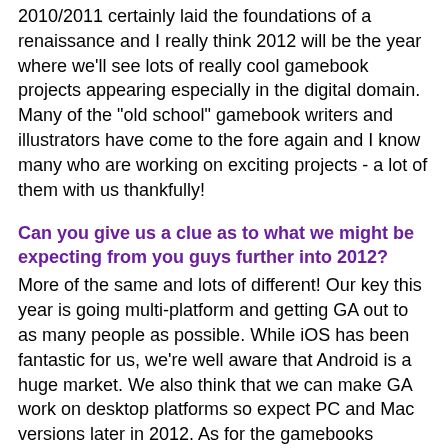2010/2011 certainly laid the foundations of a renaissance and I really think 2012 will be the year where we'll see lots of really cool gamebook projects appearing especially in the digital domain. Many of the "old school" gamebook writers and illustrators have come to the fore again and I know many who are working on exciting projects - a lot of them with us thankfully!
Can you give us a clue as to what we might be expecting from you guys further into 2012?
More of the same and lots of different! Our key this year is going multi-platform and getting GA out to as many people as possible. While iOS has been fantastic for us, we're well aware that Android is a huge market. We also think that we can make GA work on desktop platforms so expect PC and Mac versions later in 2012. As for the gamebooks themselves, expect to see more set in our fantasy setting of Orlandes, with a couple of sequels to An Assassin in Orlandes and Slaves of Rema. We have our first Sci-Fi gamebook out in February called Infinite Universe, which we're going to experiement as free to download and offer the reader the option for paying for chapters. We also have a